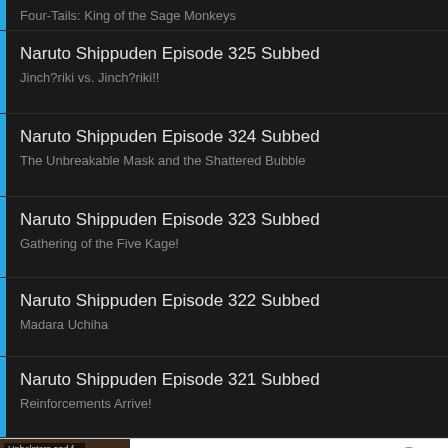Four-Tails: King of the Sage Monkeys
Naruto Shippuden Episode 325 Subbed
Jinch?riki vs. Jinch?riki!!
Naruto Shippuden Episode 324 Subbed
The Unbreakable Mask and the Shattered Bubble
Naruto Shippuden Episode 323 Subbed
Gathering of the Five Kage!
Naruto Shippuden Episode 322 Subbed
Madara Uchiha
Naruto Shippuden Episode 321 Subbed
Reinforcements Arrive!
[Figure (screenshot): Frontgate advertisement banner with outdoor furniture/fire pit image, showing 20% off sitewide sale]
Frontgate SALES
20% off sitewide plus free shipping from August 19-22
frontgate.com